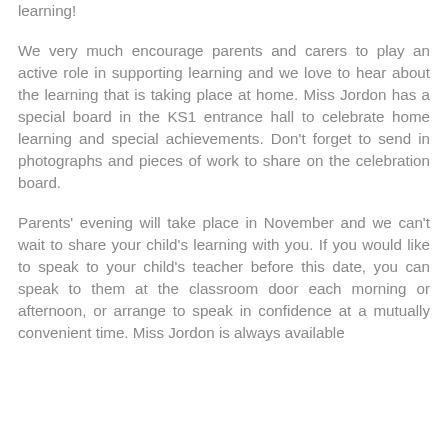learning!
We very much encourage parents and carers to play an active role in supporting learning and we love to hear about the learning that is taking place at home. Miss Jordon has a special board in the KS1 entrance hall to celebrate home learning and special achievements. Don't forget to send in photographs and pieces of work to share on the celebration board.
Parents' evening will take place in November and we can't wait to share your child's learning with you. If you would like to speak to your child's teacher before this date, you can speak to them at the classroom door each morning or afternoon, or arrange to speak in confidence at a mutually convenient time. Miss Jordon is always available